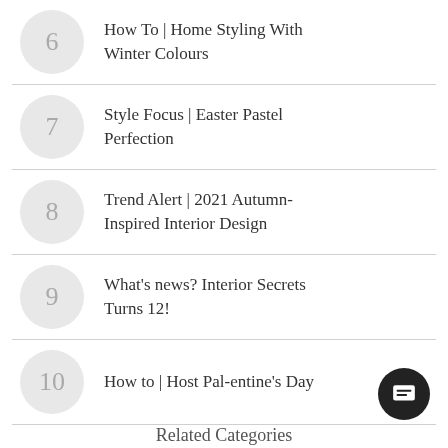6 How To | Home Styling With Winter Colours
7 Style Focus | Easter Pastel Perfection
8 Trend Alert | 2021 Autumn-Inspired Interior Design
9 What's news? Interior Secrets Turns 12!
10 How to | Host Pal-entine's Day
Related Categories